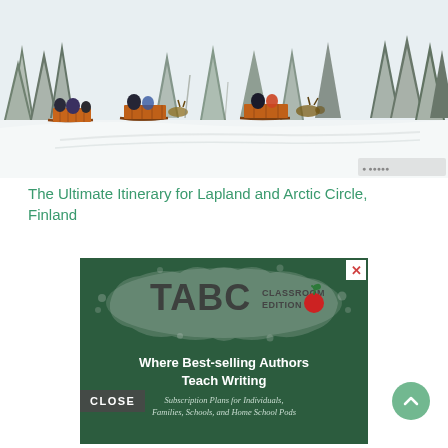[Figure (photo): Winter scene in snowy forest with people riding reindeer sleds/sleighs through snow-covered pine trees in Lapland, Finland]
The Ultimate Itinerary for Lapland and Arctic Circle, Finland
[Figure (screenshot): Advertisement for TABC Classroom Edition - Where Best-selling Authors Teach Writing. Subscription Plans for Individuals, Families, Schools, and Home School Pods. Dark green chalkboard background with TABC logo.]